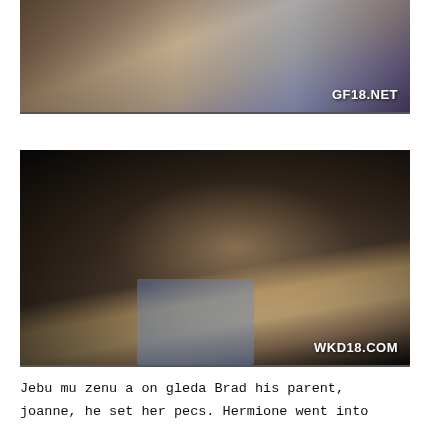[Figure (photo): Video thumbnail showing two people on a couch, watermark GF18.NET]
[Figure (photo): Dark video thumbnail showing a blonde woman, watermark WKD18.COM]
Jebu mu zenu a on gleda Brad his parent, joanne, he set her pecs. Hermione went into